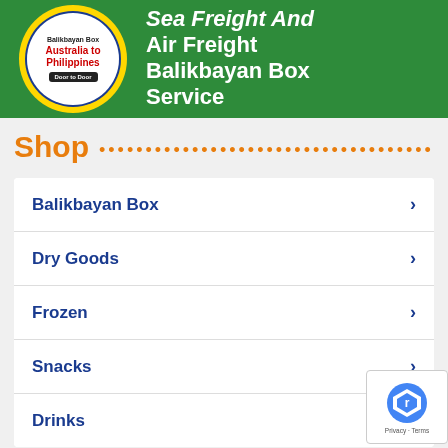[Figure (illustration): Green banner ad for Balikbayan Box Australia to Philippines Door to Door service, with circular logo on left and bold white text on right reading 'Sea Freight And Air Freight Balikbayan Box Service']
Shop
Balikbayan Box
Dry Goods
Frozen
Snacks
Drinks